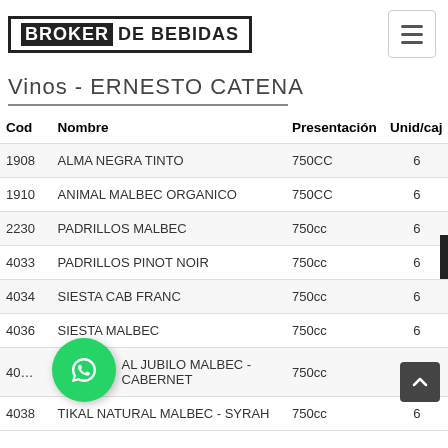BROKER DE BEBIDAS
Vinos - ERNESTO CATENA
| Cod | Nombre | Presentación | Unid/caj |
| --- | --- | --- | --- |
| 1908 | ALMA NEGRA TINTO | 750CC | 6 |
| 1910 | ANIMAL MALBEC ORGANICO | 750CC | 6 |
| 2230 | PADRILLOS MALBEC | 750cc | 6 |
| 4033 | PADRILLOS PINOT NOIR | 750cc | 6 |
| 4034 | SIESTA CAB FRANC | 750cc | 6 |
| 4036 | SIESTA MALBEC | 750cc | 6 |
| 40… | AL JUBILO MALBEC - CABERNET | 750cc |  |
| 4038 | TIKAL NATURAL MALBEC - SYRAH | 750cc | 6 |